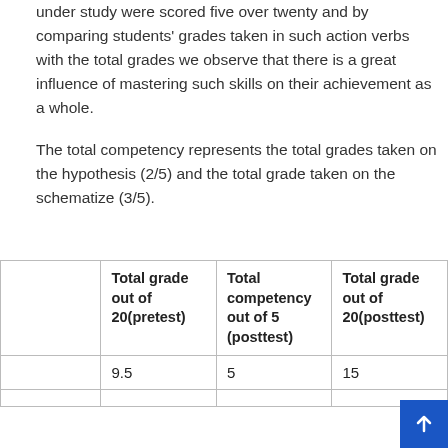under study were scored five over twenty and by comparing students' grades taken in such action verbs with the total grades we observe that there is a great influence of mastering such skills on their achievement as a whole.
The total competency represents the total grades taken on the hypothesis (2/5) and the total grade taken on the schematize (3/5).
|  | Total grade out of 20(pretest) | Total competency out of 5 (posttest) | Total grade out of 20(posttest) |
| --- | --- | --- | --- |
|  | 9.5 | 5 | 15 |